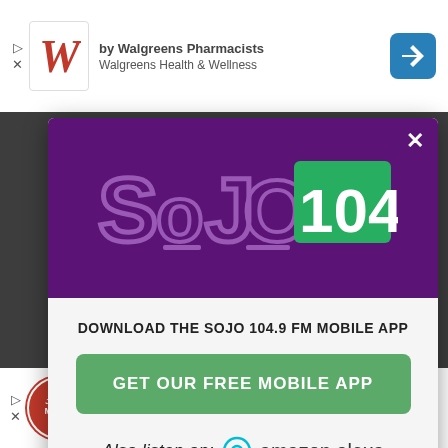[Figure (screenshot): Top advertisement banner for Walgreens Health & Wellness with Walgreens W logo and navigation arrow icon]
[Figure (logo): SOJO 104.9 FM radio station logo — purple text 'SoJO' with green rectangle containing '104.9' in white]
✕
DOWNLOAD THE SOJO 104.9 FM MOBILE APP
GET OUR FREE MOBILE APP
Also listen on:  amazon alexa
[Figure (screenshot): Bottom advertisement banner for Jersey Mike's Subs with Dine-in, Takeout, and Delivery checkmarks and navigation arrow icon]